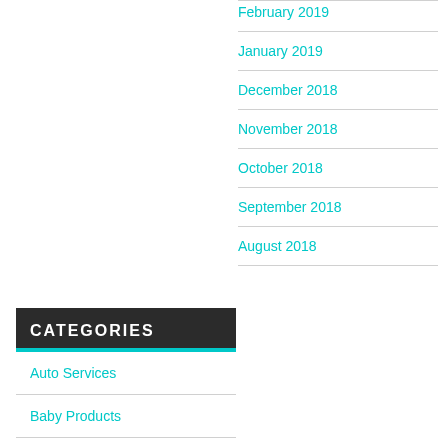February 2019
January 2019
December 2018
November 2018
October 2018
September 2018
August 2018
CATEGORIES
Auto Services
Baby Products